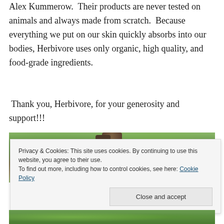Alex Kummerow.  Their products are never tested on animals and always made from scratch.  Because everything we put on our skin quickly absorbs into our bodies, Herbivore uses only organic, high quality, and food-grade ingredients.
Thank you, Herbivore, for your generosity and support!!!
[Figure (photo): Photo of a green forest scene with a tree trunk and what appears to be a product bottle, surrounded by green leaves and foliage]
Privacy & Cookies: This site uses cookies. By continuing to use this website, you agree to their use.
To find out more, including how to control cookies, see here: Cookie Policy
[Figure (photo): Partial photo at the bottom of green foliage/nature scene]